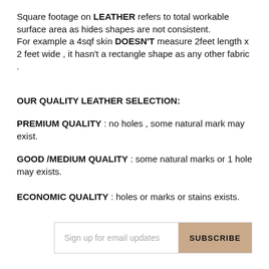Square footage on LEATHER refers to total workable surface area as hides shapes are not consistent. For example a 4sqf skin DOESN'T measure 2feet length x 2 feet wide , it hasn't a rectangle shape as any other fabric .
OUR QUALITY LEATHER SELECTION:
PREMIUM QUALITY : no holes , some natural mark may exist.
GOOD /MEDIUM QUALITY : some natural marks or 1 hole may exists.
ECONOMIC QUALITY : holes or marks or stains exists.
Sign up for email updates  SUBSCRIBE